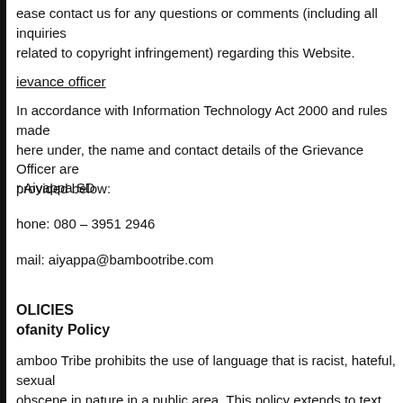ease contact us for any questions or comments (including all inquiries related to copyright infringement) regarding this Website.
ievance officer
In accordance with Information Technology Act 2000 and rules made here under, the name and contact details of the Grievance Officer are provided below:
r.Aiyappa SD
hone: 080 – 3951 2946
mail: aiyappa@bambootribe.com
OLICIES
ofanity Policy
amboo Tribe prohibits the use of language that is racist, hateful, sexual obscene in nature in a public area. This policy extends to text within tings, on all other areas of the site that another User may view. If the ofane words are part of a title for the item being sold, we will 'blur' out the bulk of the offending word with asterisks (i.e., s*** or f***)